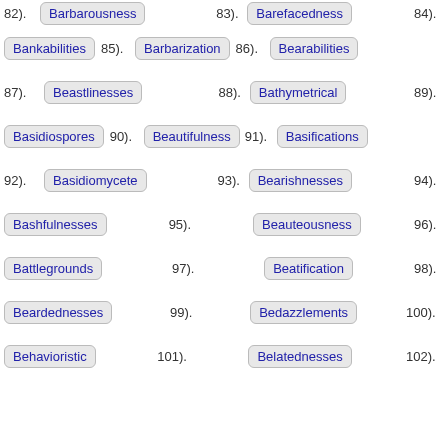82). Barbarousness  83). Barefacedness  84).
Bankabilities  85). Barbarization  86). Bearabilities
87). Beastlinesses  88). Bathymetrical  89).
Basidiospores  90). Beautifulness  91). Basifications
92). Basidiomycete  93). Bearishnesses  94).
Bashfulnesses  95). Beauteousness  96).
Battlegrounds  97). Beatification  98).
Beardednesses  99). Bedazzlements  100).
Behavioristic  101). Belatednesses  102).